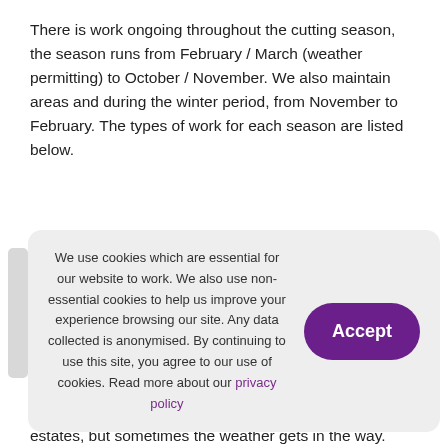There is work ongoing throughout the cutting season, the season runs from February / March (weather permitting) to October / November. We also maintain areas and during the winter period, from November to February. The types of work for each season are listed below.
We use cookies which are essential for our website to work. We also use non-essential cookies to help us improve your experience browsing our site. Any data collected is anonymised. By continuing to use this site, you agree to our use of cookies. Read more about our privacy policy
I:
We will make every effort to maintain the grounds on our estates, but sometimes the weather gets in the way. Have a look at the below forecast to see if it's likely that we're out